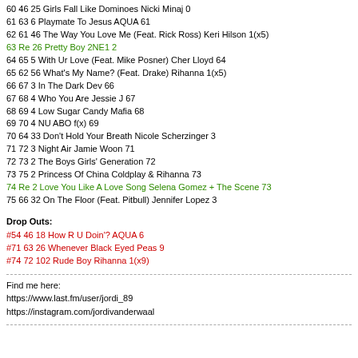60 46 25 Girls Fall Like Dominoes Nicki Minaj 0
61 63 6 Playmate To Jesus AQUA 61
62 61 46 The Way You Love Me (Feat. Rick Ross) Keri Hilson 1(x5)
63 Re 26 Pretty Boy 2NE1 2
64 65 5 With Ur Love (Feat. Mike Posner) Cher Lloyd 64
65 62 56 What's My Name? (Feat. Drake) Rihanna 1(x5)
66 67 3 In The Dark Dev 66
67 68 4 Who You Are Jessie J 67
68 69 4 Low Sugar Candy Mafia 68
69 70 4 NU ABO f(x) 69
70 64 33 Don't Hold Your Breath Nicole Scherzinger 3
71 72 3 Night Air Jamie Woon 71
72 73 2 The Boys Girls' Generation 72
73 75 2 Princess Of China Coldplay & Rihanna 73
74 Re 2 Love You Like A Love Song Selena Gomez + The Scene 73
75 66 32 On The Floor (Feat. Pitbull) Jennifer Lopez 3
Drop Outs:
#54 46 18 How R U Doin'? AQUA 6
#71 63 26 Whenever Black Eyed Peas 9
#74 72 102 Rude Boy Rihanna 1(x9)
Find me here:
https://www.last.fm/user/jordi_89
https://instagram.com/jordivanderwaal